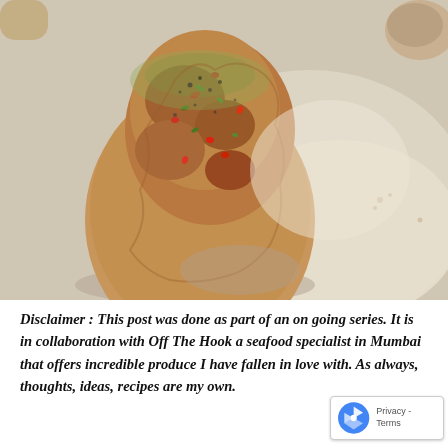[Figure (photo): Close-up photo of a spiced food item (appears to be a seasoned fish or meat patty/tikka) on a white plate, with herbs and spices visible on the surface. The background is a pale cream/white plate surface with soft shadows.]
Disclaimer : This post was done as part of an on going series. It is in collaboration with Off The Hook a seafood specialist in Mumbai that offers incredible produce I have fallen in love with. As always, thoughts, ideas, recipes are my own.